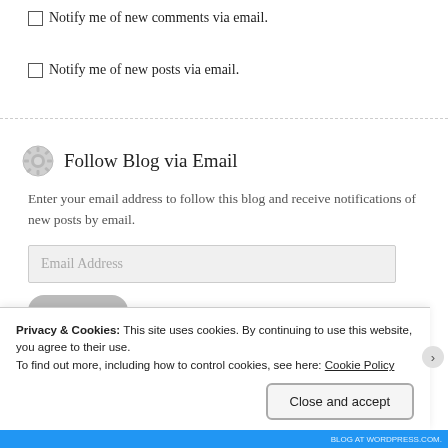Notify me of new comments via email.
Notify me of new posts via email.
Follow Blog via Email
Enter your email address to follow this blog and receive notifications of new posts by email.
[Figure (screenshot): Email Address input field (greyed out placeholder text)]
[Figure (screenshot): Follow button (rounded, grey)]
Privacy & Cookies: This site uses cookies. By continuing to use this website, you agree to their use.
To find out more, including how to control cookies, see here: Cookie Policy
Close and accept